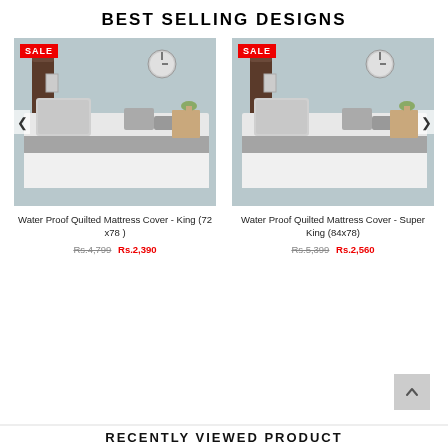BEST SELLING DESIGNS
[Figure (photo): Product photo of Water Proof Quilted Mattress Cover - King with SALE badge and ADD TO CART button]
[Figure (photo): Product photo of Water Proof Quilted Mattress Cover - Super King with SALE badge and ADD TO CART button]
Water Proof Quilted Mattress Cover - King (72 x78 )
Rs.4,799  Rs.2,390
Water Proof Quilted Mattress Cover - Super King (84x78)
Rs.5,399  Rs.2,560
RECENTLY VIEWED PRODUCT